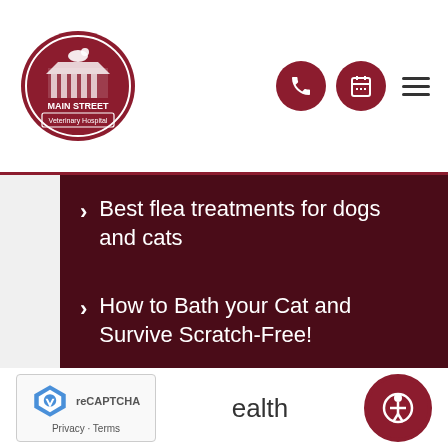[Figure (logo): Main Street Veterinary Hospital logo — oval red badge with building silhouette and text]
Best flea treatments for dogs and cats
How to Bath your Cat and Survive Scratch-Free!
Poison Guide: What to do if you think your pet has been poisoned
ealth